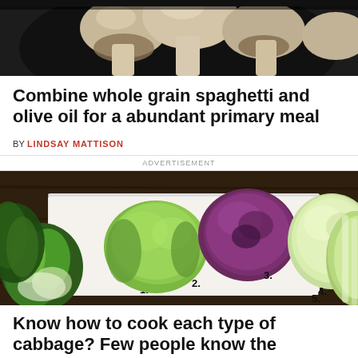[Figure (photo): Top portion of mushrooms in a dark pan, viewed from above, cropped at top of page]
Combine whole grain spaghetti and olive oil for a abundant primary meal
BY LINDSAY MATTISON
ADVERTISEMENT
[Figure (photo): Five types of cabbage arranged on a white cutting board on a dark wooden surface, numbered 1 through 5: 1. bok choy, 2. green cabbage, 3. red/purple cabbage, 4. savoy cabbage, 5. napa cabbage]
Know how to cook each type of cabbage? Few people know the difference